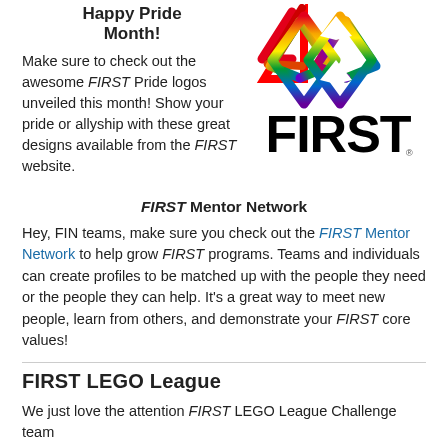Happy Pride Month!
[Figure (logo): FIRST Pride rainbow logo with colorful interlocking diamond shapes and bold FIRST wordmark below]
Make sure to check out the awesome FIRST Pride logos unveiled this month! Show your pride or allyship with these great designs available from the FIRST website.
FIRST Mentor Network
Hey, FIN teams, make sure you check out the FIRST Mentor Network to help grow FIRST programs. Teams and individuals can create profiles to be matched up with the people they need or the people they can help. It’s a great way to meet new people, learn from others, and demonstrate your FIRST core values!
FIRST LEGO League
We just love the attention FIRST LEGO League Challenge team